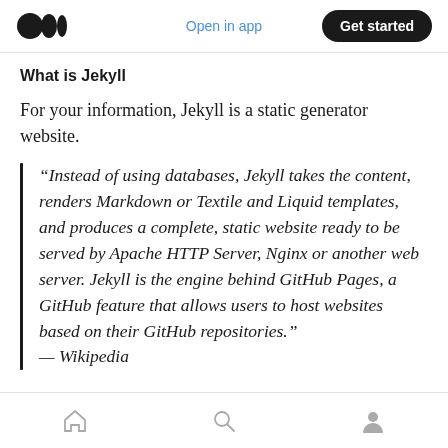Open in app | Get started
What is Jekyll
For your information, Jekyll is a static generator website.
“Instead of using databases, Jekyll takes the content, renders Markdown or Textile and Liquid templates, and produces a complete, static website ready to be served by Apache HTTP Server, Nginx or another web server. Jekyll is the engine behind GitHub Pages, a GitHub feature that allows users to host websites based on their GitHub repositories.” — Wikipedia
Home | Search | Profile